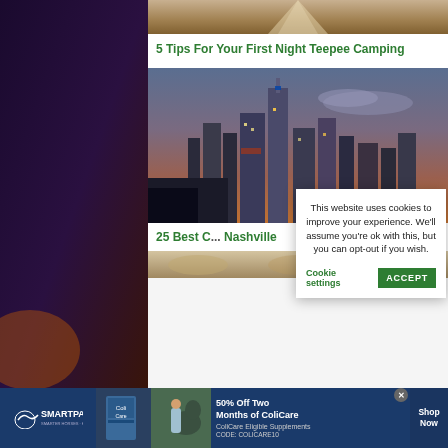[Figure (photo): Partial teepee camping image at top, sandy/dusty ground visible]
5 Tips For Your First Night Teepee Camping
[Figure (photo): Nashville city skyline at dusk/night with buildings and colorful sky]
25 Best C... Nashville
[Figure (photo): Partial image of food/items at bottom]
This website uses cookies to improve your experience. We'll assume you're ok with this, but you can opt-out if you wish.
Cookie settings
ACCEPT
[Figure (infographic): SmartPak advertisement banner: 50% Off Two Months of ColiCare, ColiCare Eligible Supplements, CODE: COLICARE10, Shop Now]